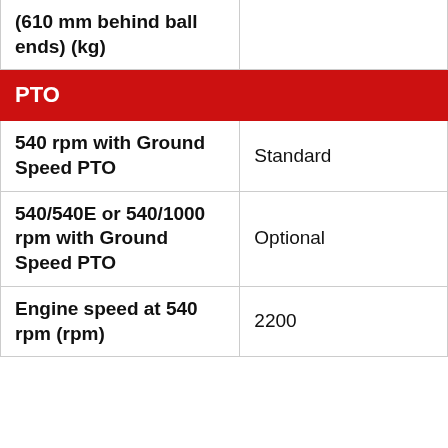| Specification | Value |
| --- | --- |
| (610 mm behind ball ends) (kg) |  |
| PTO |  |
| 540 rpm with Ground Speed PTO | Standard |
| 540/540E or 540/1000 rpm with Ground Speed PTO | Optional |
| Engine speed at 540 rpm (rpm) | 2200 |